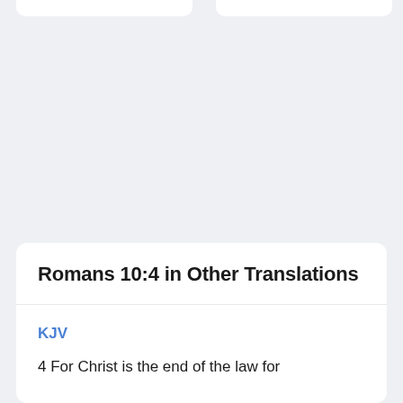Romans 10:4 in Other Translations
KJV
4 For Christ is the end of the law for